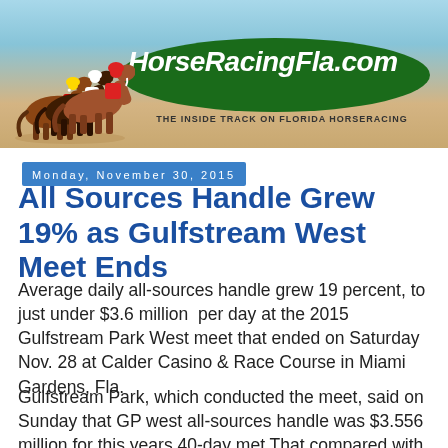[Figure (illustration): HorseRacingFla.com website banner with horse racing illustration on the left showing three jockeys on horses, a green oval with the site name 'HorseRacingFla.com' in white italic bold text, and the tagline 'THE INSIDE TRACK ON FLORIDA HORSERACING' below on a sandy/sky background.]
Monday, November 30, 2015
All Sources Handle Grew 19% as Gulfstream West Meet Ends
Average daily all-sources handle grew 19 percent, to just under $3.6 million  per day at the 2015 Gulfstream Park West meet that ended on Saturday Nov. 28 at Calder Casino & Race Course in Miami Gardens, Fla.
Gulfstream Park, which conducted the meet, said on Sunday that GP west all-sources handle was $3.556 million for this years 40-day met That compared with